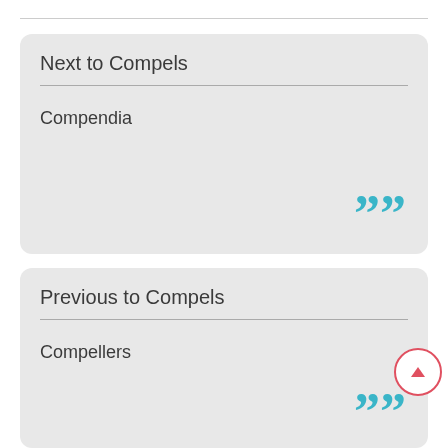Next to Compels
Compendia
Previous to Compels
Compellers